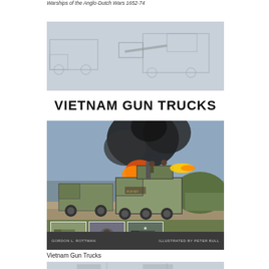Warships of the Anglo-Dutch Wars 1652-74
[Figure (illustration): Book cover for 'Vietnam Gun Trucks' by Gordon L. Rottman, illustrated by Peter Bull. Features military truck illustrations and paintings on a olive-green background.]
Vietnam Gun Trucks
[Figure (illustration): Partial view of another book cover illustration showing military equipment, partially cropped at bottom of page.]